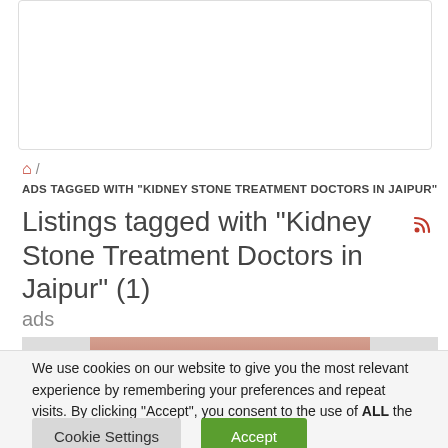[Figure (other): White box / advertisement placeholder area]
ADS TAGGED WITH "KIDNEY STONE TREATMENT DOCTORS IN JAIPUR"
Listings tagged with "Kidney Stone Treatment Doctors in Jaipur" (1)
ads
[Figure (photo): Partial image strip showing a face/person at top of listing]
We use cookies on our website to give you the most relevant experience by remembering your preferences and repeat visits. By clicking “Accept”, you consent to the use of ALL the cookies.
Do not sell my personal information.
Cookie Settings   Accept